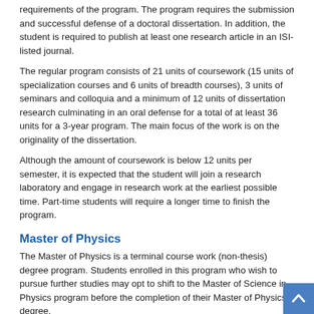requirements of the program. The program requires the submission and successful defense of a doctoral dissertation. In addition, the student is required to publish at least one research article in an ISI-listed journal.
The regular program consists of 21 units of coursework (15 units of specialization courses and 6 units of breadth courses), 3 units of seminars and colloquia and a minimum of 12 units of dissertation research culminating in an oral defense for a total of at least 36 units for a 3-year program. The main focus of the work is on the originality of the dissertation.
Although the amount of coursework is below 12 units per semester, it is expected that the student will join a research laboratory and engage in research work at the earliest possible time. Part-time students will require a longer time to finish the program.
Master of Physics
The Master of Physics is a terminal course work (non-thesis) degree program. Students enrolled in this program who wish to pursue further studies may opt to shift to the Master of Science in Physics program before the completion of their Master of Physics degree.